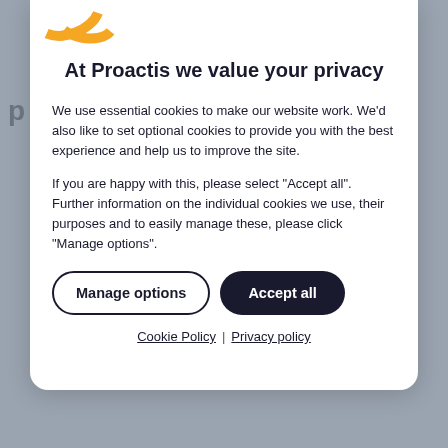[Figure (logo): Proactis orange swirl logo partially visible at top left of modal]
At Proactis we value your privacy
We use essential cookies to make our website work. We'd also like to set optional cookies to provide you with the best experience and help us to improve the site.
If you are happy with this, please select "Accept all". Further information on the individual cookies we use, their purposes and to easily manage these, please click "Manage options".
Manage options | Accept all
Cookie Policy  |  Privacy policy